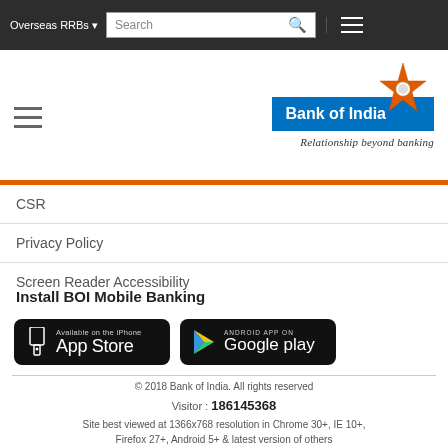Overseas RRBs  Search
[Figure (logo): Bank of India logo with orange star and blue banner, tagline: Relationship beyond banking]
CSR
Privacy Policy
Screen Reader Accessibility
Install BOI Mobile Banking
[Figure (screenshot): App Store button: Available on the iPhone App Store]
[Figure (screenshot): Google Play button: ANDROID APP ON Google play]
© 2018 Bank of India. All rights reserved
Visitor : 186145368
Site best viewed at 1366x768 resolution in Chrome 30+, IE 10+, Firefox 27+, Android 5+ & latest version of others
Maintained by Cyfuture & Hosted at Cyfuture Cloud.